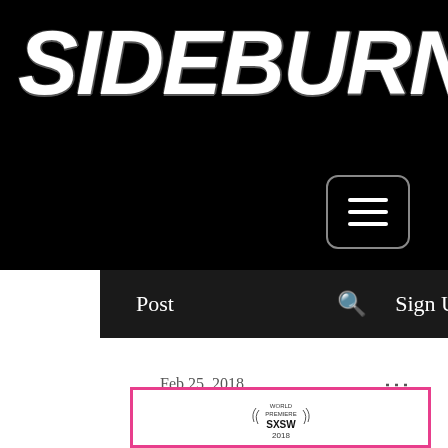[Figure (logo): SIDEBURN website logo in large distressed white bold italic text on black background]
[Figure (screenshot): Hamburger menu button (three horizontal lines) in a rounded rectangle border on black background]
Post   Q   Sign Up
Feb 25, 2018
Being Frank
[Figure (other): Partial image with pink border containing SXSW World Premiere 2018 laurel badge]